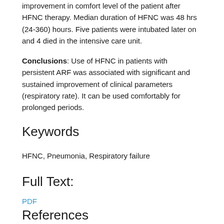improvement in comfort level of the patient after HFNC therapy. Median duration of HFNC was 48 hrs (24-360) hours. Five patients were intubated later on and 4 died in the intensive care unit.
Conclusions: Use of HFNC in patients with persistent ARF was associated with significant and sustained improvement of clinical parameters (respiratory rate). It can be used comfortably for prolonged periods.
Keywords
HFNC, Pneumonia, Respiratory failure
Full Text:
PDF
References